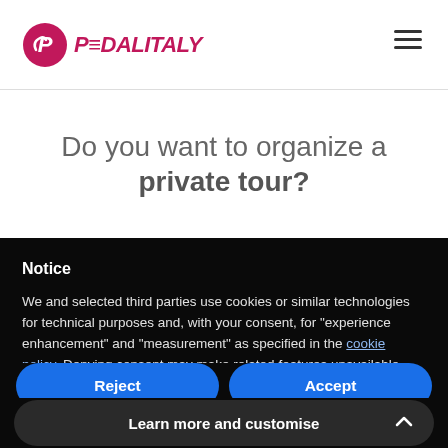[Figure (logo): Pedalitaly logo with pink cycling shield icon and pink italic wordmark PEDALITALY]
Do you want to organize a private tour?
Notice
We and selected third parties use cookies or similar technologies for technical purposes and, with your consent, for “experience enhancement” and “measurement” as specified in the cookie policy. Denying consent may make related features unavailable.
Reject
Accept
Learn more and customise